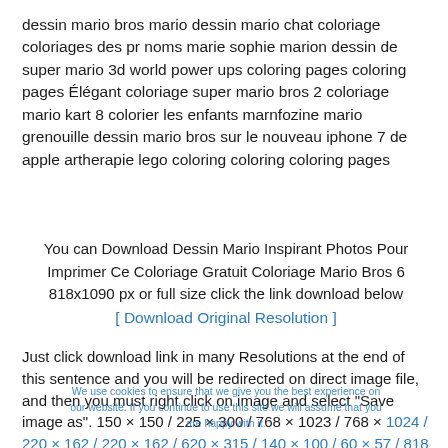dessin mario bros mario dessin mario chat coloriage coloriages des pr noms marie sophie marion dessin de super mario 3d world power ups coloring pages coloring pages Élégant coloriage super mario bros 2 coloriage mario kart 8 colorier les enfants marnfozine mario grenouille dessin mario bros sur le nouveau iphone 7 de apple artherapie lego coloring coloring coloring pages
You can Download Dessin Mario Inspirant Photos Pour Imprimer Ce Coloriage Gratuit Coloriage Mario Bros 6 818x1090 px or full size click the link download below
[ Download Original Resolution ]
Just click download link in many Resolutions at the end of this sentence and you will be redirected on direct image file, and then you must right click on image and select "Save image as". 150 × 150 / 225 × 300 / 768 × 1023 / 768 × 1024 / 220 × 162 / 220 × 162 / 620 × 315 / 140 × 100 / 60 × 57 / 818 × 1090
We use cookies to ensure that we give you the best experience on our website. If you continue to use this site we will assume that you are happy with it.